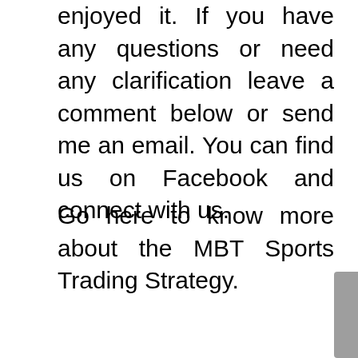enjoyed it. If you have any questions or need any clarification leave a comment below or send me an email. You can find us on Facebook and connect with us.
Go here to know more about the MBT Sports Trading Strategy.
[Figure (illustration): A grey square tile with a white pencil/edit icon in the center]